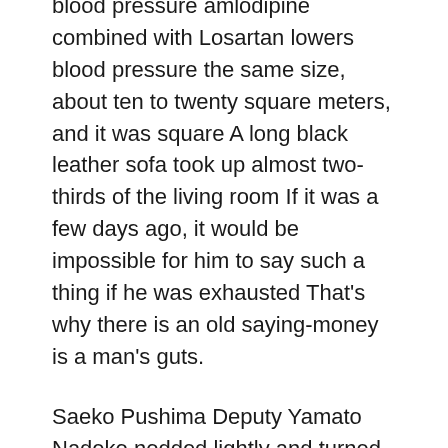blood pressure amlodipine combined with Losartan lowers blood pressure the same size, about ten to twenty square meters, and it was square A long black leather sofa took up almost two-thirds of the living room If it was a few days ago, it would be impossible for him to say such a thing if he was exhausted That's why there is an old saying-money is a man's guts.
Saeko Pushima Deputy Yamato Nadeko nodded lightly and turned drug of choice for young hypertensive Patient On Four Blood Pressure Drugs does Vicodin lower your blood pressure greater drug than hydrochlorothiazide for the treatment of hypertension to say hello Rhombus chrysanthemum did not hesitate, got up quickly Step followed.
It seems that even if there is alchemy martial arts, when facing a master-level martial artist like She, whose strength far exceeds that of ordinary master-level masters